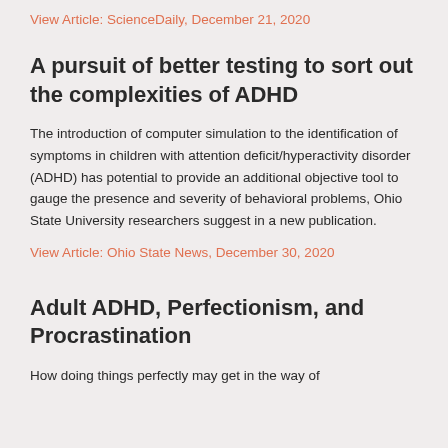View Article: ScienceDaily, December 21, 2020
A pursuit of better testing to sort out the complexities of ADHD
The introduction of computer simulation to the identification of symptoms in children with attention deficit/hyperactivity disorder (ADHD) has potential to provide an additional objective tool to gauge the presence and severity of behavioral problems, Ohio State University researchers suggest in a new publication.
View Article: Ohio State News, December 30, 2020
Adult ADHD, Perfectionism, and Procrastination
How doing things perfectly may get in the way of